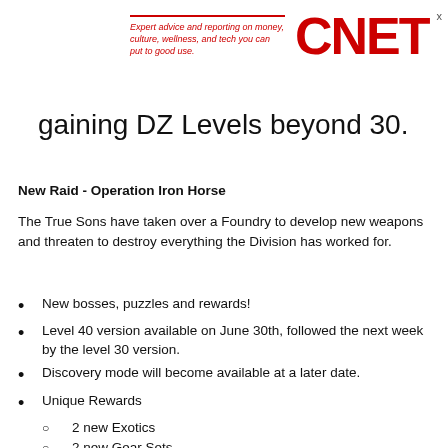Expert advice and reporting on money, culture, wellness, and tech you can put to good use. CNET
gaining DZ Levels beyond 30.
New Raid - Operation Iron Horse
The True Sons have taken over a Foundry to develop new weapons and threaten to destroy everything the Division has worked for.
New bosses, puzzles and rewards!
Level 40 version available on June 30th, followed the next week by the level 30 version.
Discovery mode will become available at a later date.
Unique Rewards
2 new Exotics
2 new Gear Sets
New cosmetic rewards
Further details will become available closer to